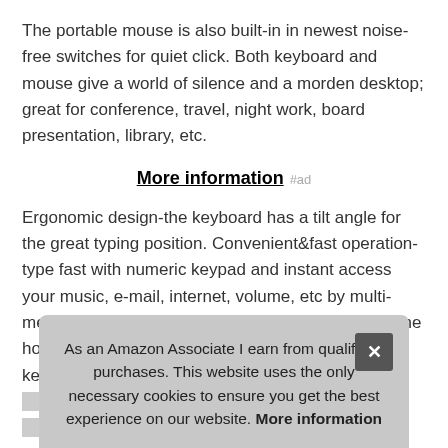The portable mouse is also built-in in newest noise-free switches for quiet click. Both keyboard and mouse give a world of silence and a morden desktop; great for conference, travel, night work, board presentation, library, etc.
More information #ad
Ergonomic design-the keyboard has a tilt angle for the great typing position. Convenient&fast operation-type fast with numeric keypad and instant access your music, e-mail, internet, volume, etc by multi-media hot keys. Battery not included in package. The hot-keys not fully compatible with Mac System The keyboard and mouse combo commonly use one nano receiver only for saving USB port of your computer or la...
The... batt... would provide hours of work comfortably. High precition dpi
As an Amazon Associate I earn from qualifying purchases. This website uses the only necessary cookies to ensure you get the best experience on our website. More information